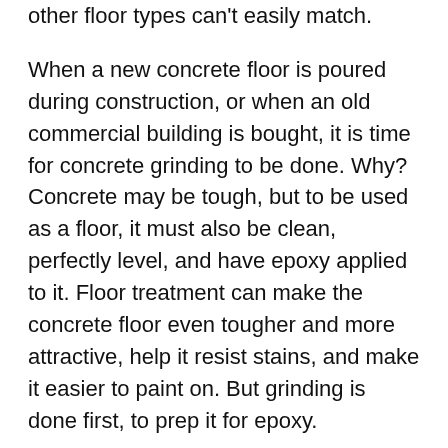other floor types can't easily match.
When a new concrete floor is poured during construction, or when an old commercial building is bought, it is time for concrete grinding to be done. Why? Concrete may be tough, but to be used as a floor, it must also be clean, perfectly level, and have epoxy applied to it. Floor treatment can make the concrete floor even tougher and more attractive, help it resist stains, and make it easier to paint on. But grinding is done first, to prep it for epoxy.
Floor grinder machines are pushed by hand, and their rotating disks will grind up the surface and make it perfectly flat and level after enough work